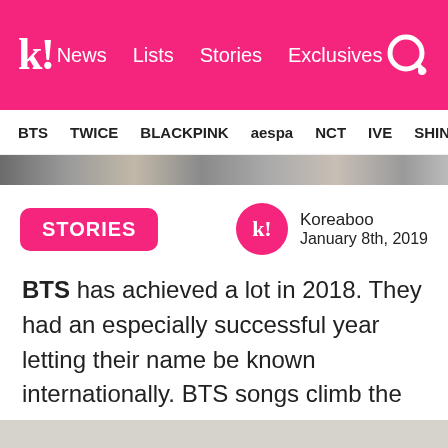k! News  Lists  Stories  Exclusives
BTS  TWICE  BLACKPINK  aespa  NCT  IVE  SHIN
[Figure (photo): A horizontal photo strip showing group photos of K-pop artists]
STORIES
Koreaboo
January 8th, 2019
BTS has achieved a lot in 2018. They had an especially successful year letting their name be known internationally. BTS songs climb the music charts and their concerts are packed with fans from all over the world. And while music is often referred to as a universal language, some BTS fans are not quite fluent in the Korean language.